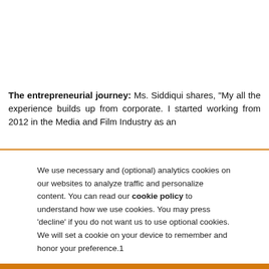The entrepreneurial journey: Ms. Siddiqui shares, "My all the experience builds up from corporate. I started working from 2012 in the Media and Film Industry as an
We use necessary and (optional) analytics cookies on our websites to analyze traffic and personalize content. You can read our cookie policy to understand how we use cookies. You may press 'decline' if you do not want us to use optional cookies. We will set a cookie on your device to remember and honor your preference.1